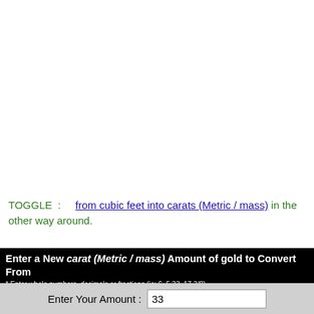TOGGLE : from cubic feet into carats (Metric / mass) in the other way around.
Enter a New carat (Metric / mass) Amount of gold to Convert From
* Enter whole numbers, decimals or fractions (ie: 6, 5.33, 17 3/8)
Enter Your Amount : 33